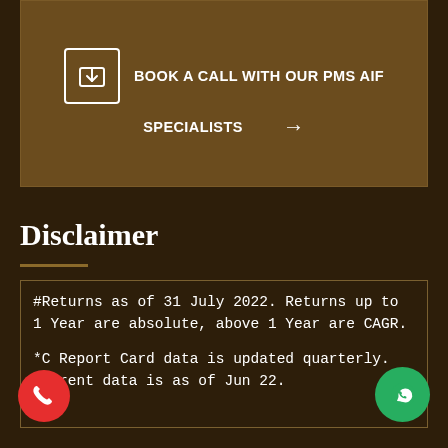[Figure (infographic): Dark brown banner with inbox/download icon and text 'BOOK A CALL WITH OUR PMS AIF SPECIALISTS' with an arrow, on brown background]
Disclaimer
#Returns as of 31 July 2022. Returns up to 1 Year are absolute, above 1 Year are CAGR.
*C Report Card data is updated quarterly. Current data is as of Jun 22.